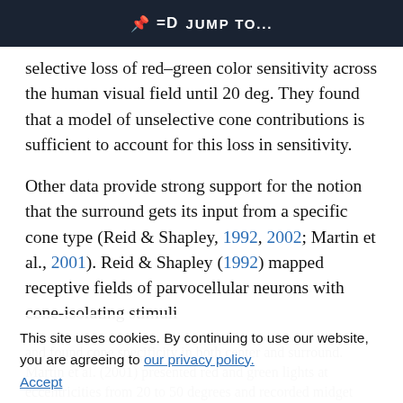JUMP TO...
selective loss of red–green color sensitivity across the human visual field until 20 deg. They found that a model of unselective cone contributions is sufficient to account for this loss in sensitivity.
Other data provide strong support for the notion that the surround gets its input from a specific cone type (Reid & Shapley, 1992, 2002; Martin et al., 2001). Reid & Shapley (1992) mapped receptive fields of parvocellular neurons with cone-isolating stimuli
and found cone specificity in both center and surround. Martin et al. (2001) presented red and green lights at eccentricities from 20 to 50 degrees and recorded midget ganglion cell responses from
This site uses cookies. By continuing to use our website, you are agreeing to our privacy policy. Accept